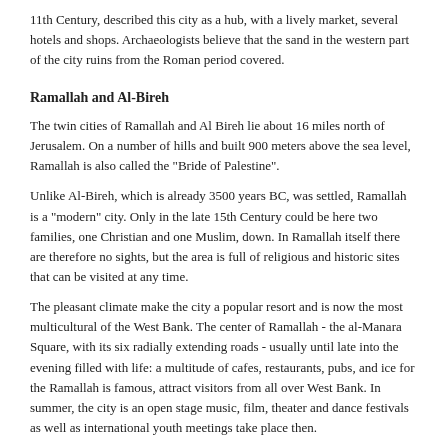11th Century, described this city as a hub, with a lively market, several hotels and shops. Archaeologists believe that the sand in the western part of the city ruins from the Roman period covered.
Ramallah and Al-Bireh
The twin cities of Ramallah and Al Bireh lie about 16 miles north of Jerusalem. On a number of hills and built 900 meters above the sea level, Ramallah is also called the "Bride of Palestine".
Unlike Al-Bireh, which is already 3500 years BC, was settled, Ramallah is a "modern" city. Only in the late 15th Century could be here two families, one Christian and one Muslim, down. In Ramallah itself there are therefore no sights, but the area is full of religious and historic sites that can be visited at any time.
The pleasant climate make the city a popular resort and is now the most multicultural of the West Bank. The center of Ramallah - the al-Manara Square, with its six radially extending roads - usually until late into the evening filled with life: a multitude of cafes, restaurants, pubs, and ice for the Ramallah is famous, attract visitors from all over West Bank. In summer, the city is an open stage music, film, theater and dance festivals as well as international youth meetings take place then.
Al-Bireh, was built by the Canaanites, and once there, Joseph and Mary rested on her way from Jerusalem to Nazareth. Al-Bireht is also known as the center for educational, political and cultural activities.